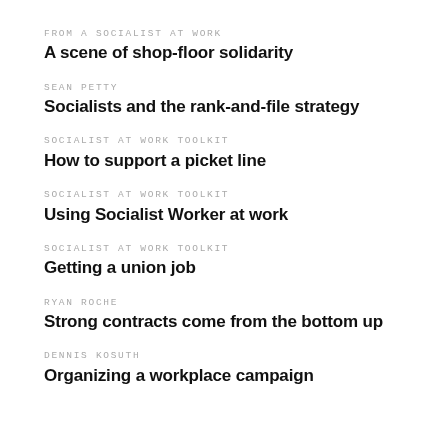FROM A SOCIALIST AT WORK
A scene of shop-floor solidarity
SEAN PETTY
Socialists and the rank-and-file strategy
SOCIALIST AT WORK TOOLKIT
How to support a picket line
SOCIALIST AT WORK TOOLKIT
Using Socialist Worker at work
SOCIALIST AT WORK TOOLKIT
Getting a union job
RYAN ROCHE
Strong contracts come from the bottom up
DENNIS KOSUTH
Organizing a workplace campaign